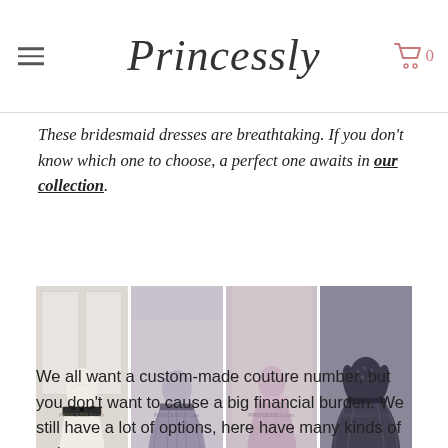Princessly
These bridesmaid dresses are breathtaking. If you don't know which one to choose, a perfect one awaits in our collection.
[Figure (photo): Four bridesmaid dress photos side by side: 1) White/cream dress with black sash on mannequin, 2) Gray pleated dress on mannequin, 3) Mauve/pink long dress on mannequin, 4) Dark lace and tulle dress on mannequin. All photos watermarked with PRINCESSLY.com]
We all want a custom-made couture number, but you don't want to cause a big financial burden. We still have a lot of options, here have many kinds of styles